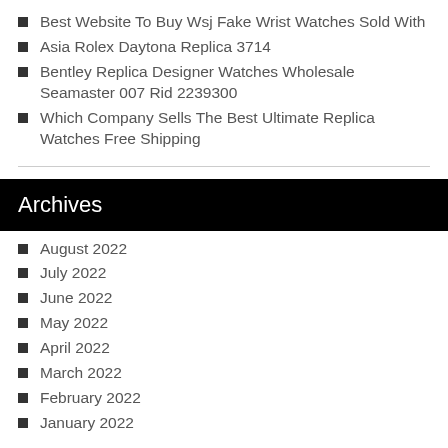Best Website To Buy Wsj Fake Wrist Watches Sold With
Asia Rolex Daytona Replica 3714
Bentley Replica Designer Watches Wholesale Seamaster 007 Rid 2239300
Which Company Sells The Best Ultimate Replica Watches Free Shipping
Archives
August 2022
July 2022
June 2022
May 2022
April 2022
March 2022
February 2022
January 2022